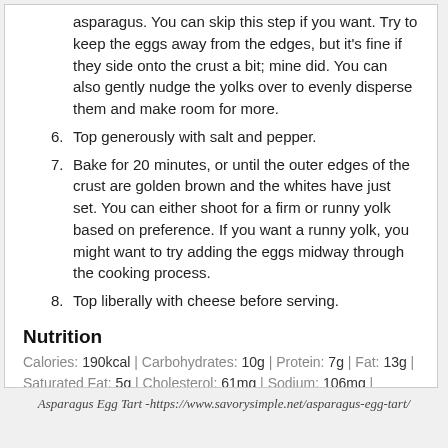asparagus. You can skip this step if you want. Try to keep the eggs away from the edges, but it's fine if they side onto the crust a bit; mine did. You can also gently nudge the yolks over to evenly disperse them and make room for more.
6. Top generously with salt and pepper.
7. Bake for 20 minutes, or until the outer edges of the crust are golden brown and the whites have just set. You can either shoot for a firm or runny yolk based on preference. If you want a runny yolk, you might want to try adding the eggs midway through the cooking process.
8. Top liberally with cheese before serving.
Nutrition
Calories: 190kcal | Carbohydrates: 10g | Protein: 7g | Fat: 13g | Saturated Fat: 5g | Cholesterol: 61mg | Sodium: 106mg | Potassium: 105mg | Fiber: 1g | Vitamin A: 450IU | Vitamin C: 1.8mg | Calcium: 128mg | Iron: 1.5mg
Asparagus Egg Tart -https://www.savorysimple.net/asparagus-egg-tart/